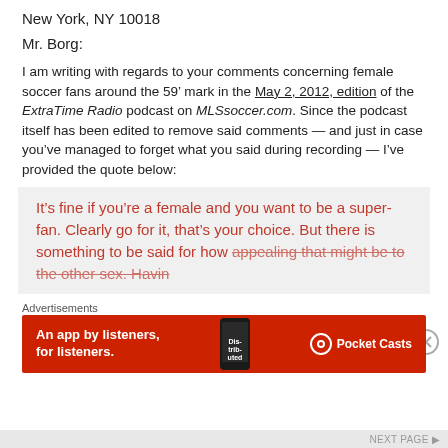New York, NY 10018
Mr. Borg:
I am writing with regards to your comments concerning female soccer fans around the 59’ mark in the May 2, 2012, edition of the ExtraTime Radio podcast on MLSsoccer.com. Since the podcast itself has been edited to remove said comments — and just in case you’ve managed to forget what you said during recording — I’ve provided the quote below:
It’s fine if you’re a female and you want to be a super-fan. Clearly go for it, that’s your choice. But there is something to be said for how appealing that might be to the other sex. Havin…
Advertisements
[Figure (other): Red banner advertisement for Pocket Casts app. Text reads: An app by listeners, for listeners. Pocket Casts logo on right with phone image in center.]